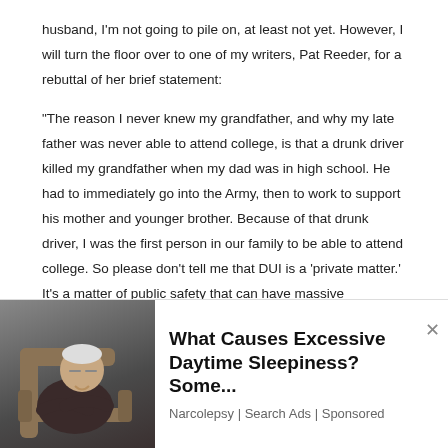husband, I'm not going to pile on, at least not yet. However, I will turn the floor over to one of my writers, Pat Reeder, for a rebuttal of her brief statement:
“The reason I never knew my grandfather, and why my late father was never able to attend college, is that a drunk driver killed my grandfather when my dad was in high school. He had to immediately go into the Army, then to work to support his mother and younger brother. Because of that drunk driver, I was the first person in our family to be able to attend college. So please don’t tell me that DUI is a ‘private matter.’ It’s a matter of public safety that can have massive repercussions for innocent people. A car with a drunk at the wheel is just as deadly a weapon as a gun. I’d like to see you pretend to be just as concerned about the former as the latter.”
[Figure (photo): Advertisement overlay showing an elderly man sleeping in a chair, with text: What Causes Excessive Daytime Sleepiness? Some... Narcolepsy | Search Ads | Sponsored]